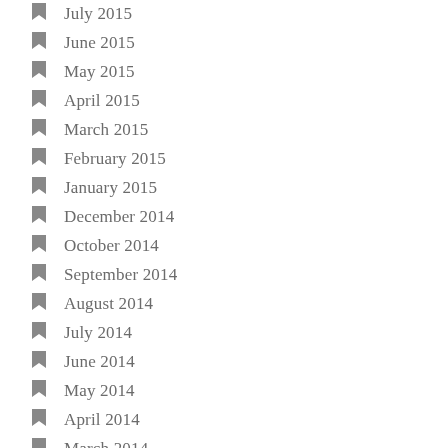July 2015
June 2015
May 2015
April 2015
March 2015
February 2015
January 2015
December 2014
October 2014
September 2014
August 2014
July 2014
June 2014
May 2014
April 2014
March 2014
February 2014
January 2014
December 2013